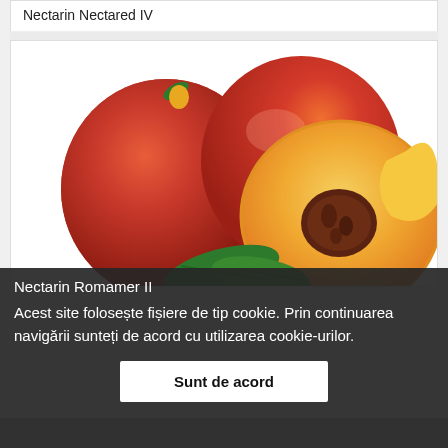Nectarin Nectared IV
[Figure (photo): Two whole nectarines and one halved nectarine showing the pit, with green leaves, on a white background.]
Nectarin Romamer II
Acest site folosește fișiere de tip cookie. Prin continuarea navigării sunteți de acord cu utilizarea cookie-urilor.
Sunt de acord